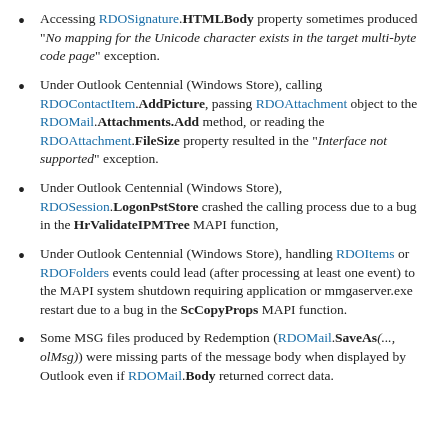Accessing RDOSignature.HTMLBody property sometimes produced "No mapping for the Unicode character exists in the target multi-byte code page" exception.
Under Outlook Centennial (Windows Store), calling RDOContactItem.AddPicture, passing RDOAttachment object to the RDOMail.Attachments.Add method, or reading the RDOAttachment.FileSize property resulted in the "Interface not supported" exception.
Under Outlook Centennial (Windows Store), RDOSession.LogonPstStore crashed the calling process due to a bug in the HrValidateIPMTree MAPI function,
Under Outlook Centennial (Windows Store), handling RDOItems or RDOFolders events could lead (after processing at least one event) to the MAPI system shutdown requiring application or mmgaserver.exe restart due to a bug in the ScCopyProps MAPI function.
Some MSG files produced by Redemption (RDOMail.SaveAs(..., olMsg)) were missing parts of the message body when displayed by Outlook even if RDOMail.Body returned correct data.